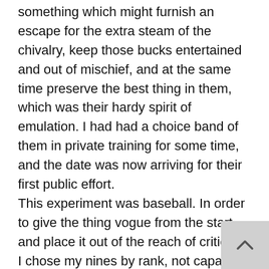something which might furnish an escape for the extra steam of the chivalry, keep those bucks entertained and out of mischief, and at the same time preserve the best thing in them, which was their hardy spirit of emulation. I had had a choice band of them in private training for some time, and the date was now arriving for their first public effort.
This experiment was baseball. In order to give the thing vogue from the start, and place it out of the reach of criticism, I chose my nines by rank, not capacity. There wasn't a knight in either team who wasn't a sceptered sovereign. As for material of this sort, there was a glut of it always around Arthur. You couldn't throw a brick in any direction and not cripple a king. Of course, I couldn't get